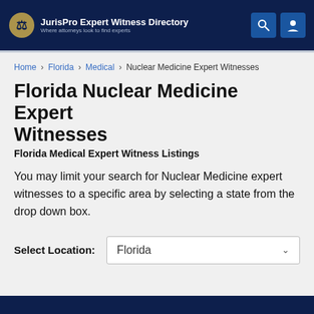JurisPro Expert Witness Directory — Where attorneys look to find experts
Home › Florida › Medical › Nuclear Medicine Expert Witnesses
Florida Nuclear Medicine Expert Witnesses
Florida Medical Expert Witness Listings
You may limit your search for Nuclear Medicine expert witnesses to a specific area by selecting a state from the drop down box.
Select Location: Florida